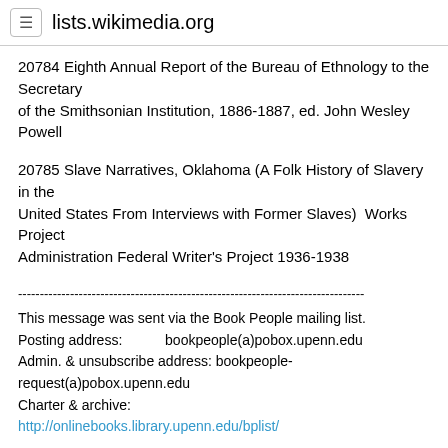lists.wikimedia.org
20784 Eighth Annual Report of the Bureau of Ethnology to the Secretary of the Smithsonian Institution, 1886-1887, ed. John Wesley Powell
20785 Slave Narratives, Oklahoma (A Folk History of Slavery in the United States From Interviews with Former Slaves)  Works Project Administration Federal Writer's Project 1936-1938
--------------------------------------------------------------------------------
This message was sent via the Book People mailing list.
Posting address:           bookpeople(a)pobox.upenn.edu
Admin. & unsubscribe address: bookpeople-request(a)pobox.upenn.edu
Charter & archive:
http://onlinebooks.library.upenn.edu/bplist/